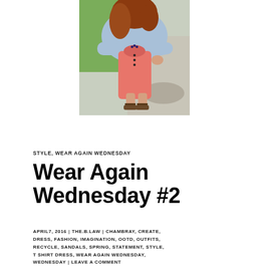[Figure (photo): A woman with red hair wearing a coral/pink t-shirt dress and a light blue denim jacket, viewed from above/angled down, standing on a sidewalk with grass visible in the background. She is wearing sandals.]
STYLE, WEAR AGAIN WEDNESDAY
Wear Again Wednesday #2
APRIL7, 2016 | THE.B.LAW | CHAMBRAY, CREATE, DRESS, FASHION, IMAGINATION, OOTD, OUTFITS, RECYCLE, SANDALS, SPRING, STATEMENT, STYLE, T SHIRT DRESS, WEAR AGAIN WEDNESDAY, WEDNESDAY | LEAVE A COMMENT